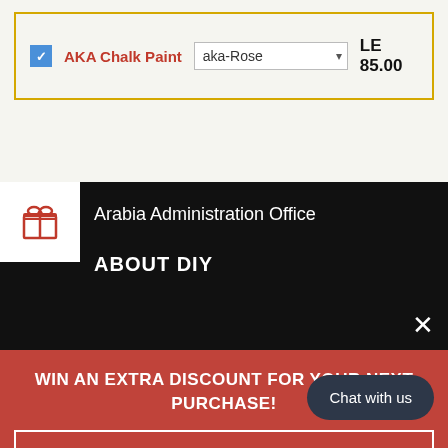[Figure (screenshot): Product option row showing a checked checkbox, 'AKA Chalk Paint' label in red, a dropdown selector showing 'aka-Rose', and a price of 'LE 85.00', all inside a gold-bordered box]
[Figure (screenshot): Black section with white gift icon box on left, 'Arabia Administration Office' text in white, 'ABOUT DIY' bold text in white, and an X close button]
[Figure (screenshot): Red promotional popup banner with text 'WIN AN EXTRA DISCOUNT FOR YOUR NEXT PURCHASE!', a 'Spin it' button with white border, and a dark 'Chat with us' pill button]